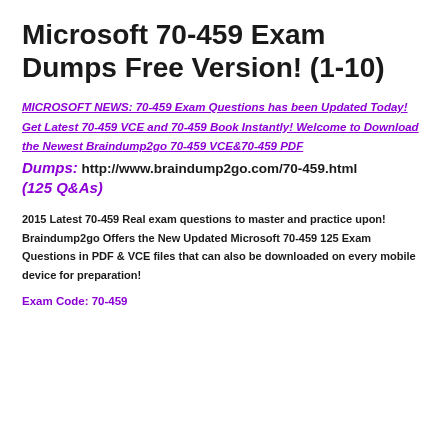Microsoft 70-459 Exam Dumps Free Version! (1-10)
MICROSOFT NEWS: 70-459 Exam Questions has been Updated Today! Get Latest 70-459 VCE and 70-459 Book Instantly! Welcome to Download the Newest Braindump2go 70-459 VCE&70-459 PDF Dumps: http://www.braindump2go.com/70-459.html (125 Q&As)
2015 Latest 70-459 Real exam questions to master and practice upon! Braindump2go Offers the New Updated Microsoft 70-459 125 Exam Questions in PDF & VCE files that can also be downloaded on every mobile device for preparation!
Exam Code: 70-459